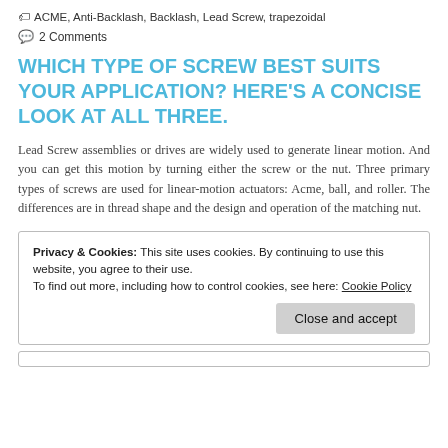ACME, Anti-Backlash, Backlash, Lead Screw, trapezoidal
2 Comments
WHICH TYPE OF SCREW BEST SUITS YOUR APPLICATION? HERE'S A CONCISE LOOK AT ALL THREE.
Lead Screw assemblies or drives are widely used to generate linear motion. And you can get this motion by turning either the screw or the nut. Three primary types of screws are used for linear-motion actuators: Acme, ball, and roller. The differences are in thread shape and the design and operation of the matching nut.
Privacy & Cookies: This site uses cookies. By continuing to use this website, you agree to their use. To find out more, including how to control cookies, see here: Cookie Policy
Close and accept